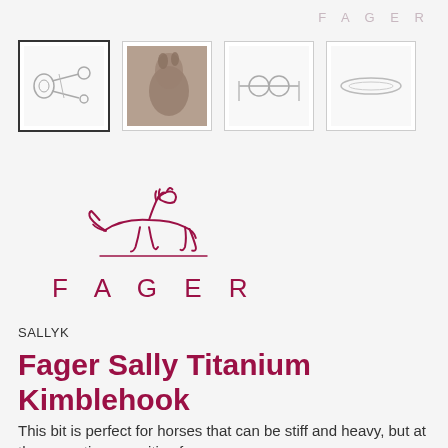F A G E R
[Figure (photo): Four product thumbnail images in a row: (1) kimblehook bit illustration selected with dark border, (2) horse head painting/photo, (3) full bit diagram illustration, (4) ring/bit top-view illustration]
[Figure (logo): Fager brand logo: running horse line drawing in dark red/maroon above a horizontal line with 'FAGER' text in spaced letters below]
SALLYK
Fager Sally Titanium Kimblehook
This bit is perfect for horses that can be stiff and heavy, but at the same time sensitive for